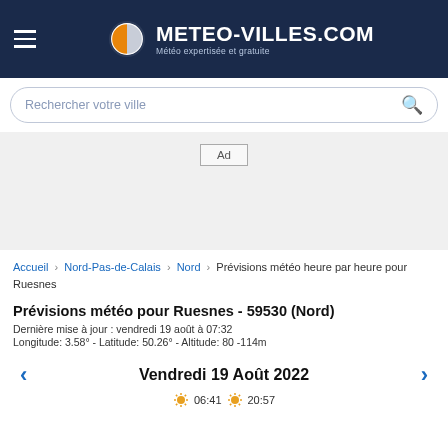METEO-VILLES.COM — Météo expertisée et gratuite
Rechercher votre ville
[Figure (other): Advertisement placeholder box labeled 'Ad']
Accueil › Nord-Pas-de-Calais › Nord › Prévisions météo heure par heure pour Ruesnes
Prévisions météo pour Ruesnes - 59530 (Nord)
Dernière mise à jour : vendredi 19 août à 07:32
Longitude: 3.58° - Latitude: 50.26° - Altitude: 80 -114m
Vendredi 19 Août 2022
☀ 06:41  ☀ 20:57